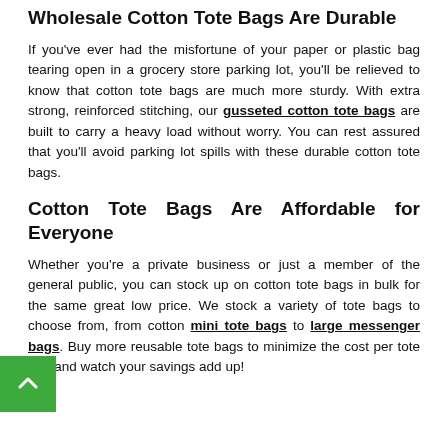Wholesale Cotton Tote Bags Are Durable
If you've ever had the misfortune of your paper or plastic bag tearing open in a grocery store parking lot, you'll be relieved to know that cotton tote bags are much more sturdy. With extra strong, reinforced stitching, our gusseted cotton tote bags are built to carry a heavy load without worry. You can rest assured that you'll avoid parking lot spills with these durable cotton tote bags.
Cotton Tote Bags Are Affordable for Everyone
Whether you're a private business or just a member of the general public, you can stock up on cotton tote bags in bulk for the same great low price. We stock a variety of tote bags to choose from, from cotton mini tote bags to large messenger bags. Buy more reusable tote bags to minimize the cost per tote bag and watch your savings add up!